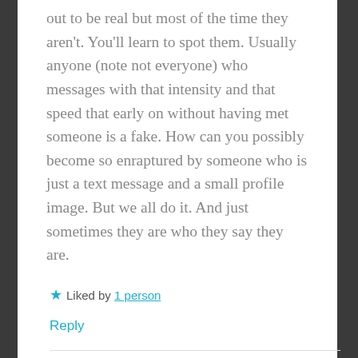out to be real but most of the time they aren't. You'll learn to spot them. Usually anyone (note not everyone) who messages with that intensity and that speed that early on without having met someone is a fake. How can you possibly become so enraptured by someone who is just a text message and a small profile image. But we all do it. And just sometimes they are who they say they are.
★ Liked by 1 person
Reply
Unleashing the Cougar
JANUARY 3, 2018 AT 1:08 PM